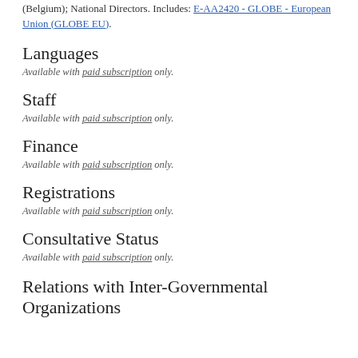(Belgium); National Directors. Includes: E-AA2420 - GLOBE - European Union (GLOBE EU).
Languages
Available with paid subscription only.
Staff
Available with paid subscription only.
Finance
Available with paid subscription only.
Registrations
Available with paid subscription only.
Consultative Status
Available with paid subscription only.
Relations with Inter-Governmental Organizations